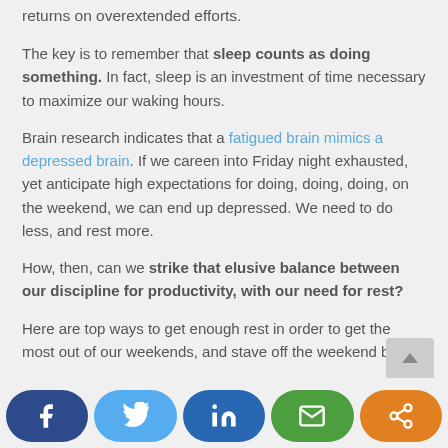returns on overextended efforts.
The key is to remember that sleep counts as doing something. In fact, sleep is an investment of time necessary to maximize our waking hours.
Brain research indicates that a fatigued brain mimics a depressed brain. If we careen into Friday night exhausted, yet anticipate high expectations for doing, doing, doing, on the weekend, we can end up depressed. We need to do less, and rest more.
How, then, can we strike that elusive balance between our discipline for productivity, with our need for rest?
Here are top ways to get enough rest in order to get the most out of our weekends, and stave off the weekend blues.